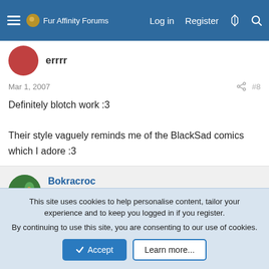Fur Affinity Forums — Log in  Register
Mar 1, 2007  #8
Definitely blotch work :3

Their style vaguely reminds me of the BlackSad comics which I adore :3
Bokracroc
Bokra, come out to pla-ay
Mar 2, 2007  #9
DISAPPOINTED BY THE LACK OF PUNCHING 😡
This site uses cookies to help personalise content, tailor your experience and to keep you logged in if you register.
By continuing to use this site, you are consenting to our use of cookies.
Accept  Learn more...